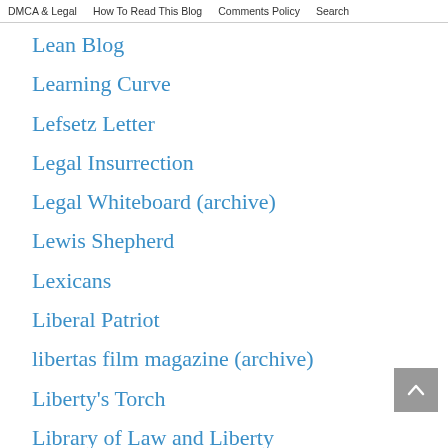DMCA & Legal   How To Read This Blog   Comments Policy   Search
Lean Blog
Learning Curve
Lefsetz Letter
Legal Insurrection
Legal Whiteboard (archive)
Lewis Shepherd
Lexicans
Liberal Patriot
libertas film magazine (archive)
Liberty's Torch
Library of Law and Liberty
Lid Blog
Likelihood of Confusion